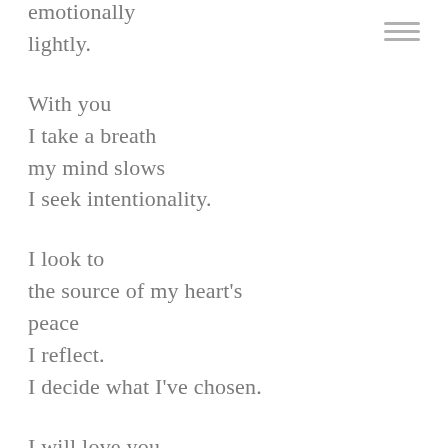emotionally
lightly.
With you
I take a breath
my mind slows
I seek intentionality.
I look to
the source of my heart's
peace
I reflect.
I decide what I've chosen.
I will love you
when you are free
while you are